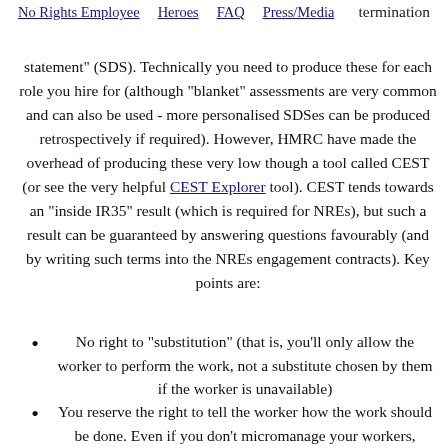No Rights Employee   Heroes   FAQ   Press/Media
termination statement" (SDS). Technically you need to produce these for each role you hire for (although "blanket" assessments are very common and can also be used - more personalised SDSes can be produced retrospectively if required). However, HMRC have made the overhead of producing these very low though a tool called CEST (or see the very helpful CEST Explorer tool). CEST tends towards an "inside IR35" result (which is required for NREs), but such a result can be guaranteed by answering questions favourably (and by writing such terms into the NREs engagement contracts). Key points are:
No right to "substitution" (that is, you'll only allow the worker to perform the work, not a substitute chosen by them if the worker is unavailable)
You reserve the right to tell the worker how the work should be done. Even if you don't micromanage your workers,